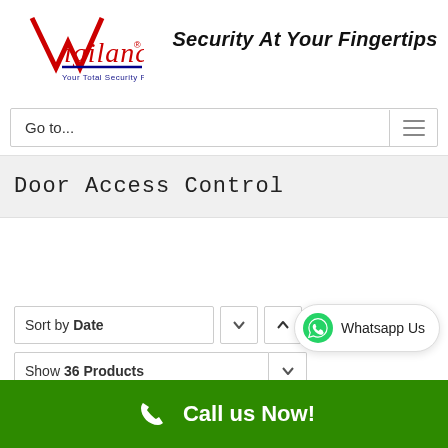[Figure (logo): Vigilance logo with red V checkmark and red cursive text, tagline 'Your Total Security Partner' in blue]
Security At Your Fingertips
Go to...
Door Access Control
Sort by Date
Show 36 Products
[Figure (logo): WhatsApp Us button with green WhatsApp icon]
Call us Now!